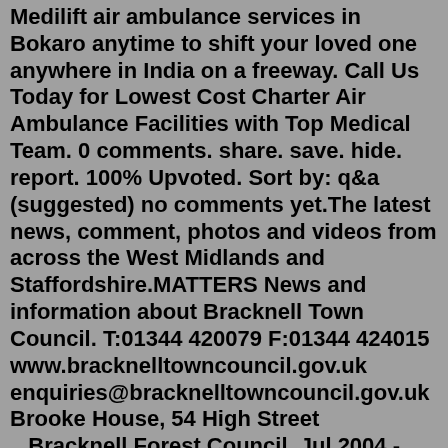Medilift air ambulance services in Bokaro anytime to shift your loved one anywhere in India on a freeway. Call Us Today for Lowest Cost Charter Air Ambulance Facilities with Top Medical Team. 0 comments. share. save. hide. report. 100% Upvoted. Sort by: q&a (suggested) no comments yet.The latest news, comment, photos and videos from across the West Midlands and Staffordshire.MATTERS News and information about Bracknell Town Council. T:01344 420079 F:01344 424015 www.bracknelltowncouncil.gov.uk enquiries@bracknelltowncouncil.gov.uk Brooke House, 54 High Street ...Bracknell Forest Council. Jul 2004 - Sep 20084 years 3 months. Brand development and implementation. Responsible for brand strategy and implementing new corporate identity. Integrated Marketing Communications Strategy. Developed a three-year strategy to increase resident satisfaction in the borough.Find Air Ambulance near Frensham, RG12, Bracknell on Yell. Get reviews and contact details for each business including phone number,